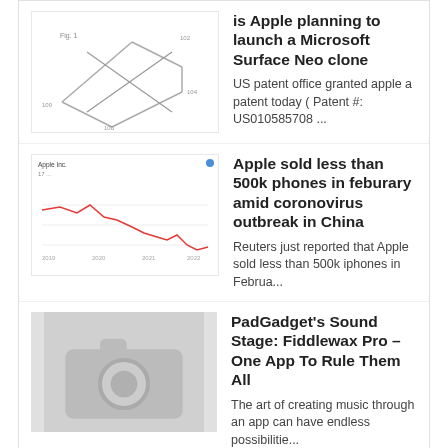[Figure (schematic): Patent diagram thumbnail showing technical drawing of a device]
is Apple planning to launch a Microsoft Surface Neo clone
US patent office granted apple a patent today ( Patent #: US010585708 ...
[Figure (line-chart): Stock chart thumbnail showing a red line chart with declining trend]
Apple sold less than 500k phones in feburary amid coronovirus outbreak in China
Reuters just reported that Apple sold less than 500k iphones in Februa...
[Figure (photo): Gray placeholder image with camera icon]
PadGadget's Sound Stage: Fiddlewax Pro – One App To Rule Them All
The art of creating music through an app can have endless possibilitie...
Post a Comment
0 Comments
To leave a comment, click the button below to sign in with Google.